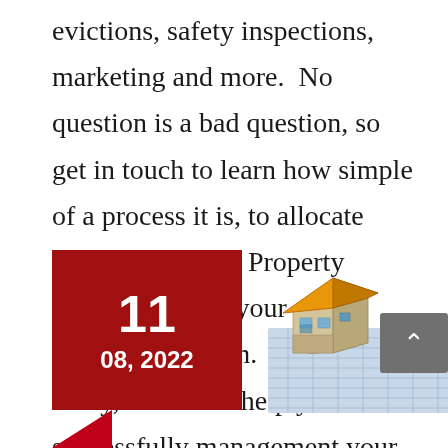evictions, safety inspections, marketing and more.  No question is a bad question, so get in touch to learn how simple of a process it is, to allocate Herman Boswell Property Management as your management firm.  Get in touch today, and let us help you to successfully management your property.
[Figure (other): Red date box showing '11' and '08, 2022', a 3D house architectural model on blueprints, a grey scroll-to-top button with upward chevron, and a partial red arrow at bottom left.]